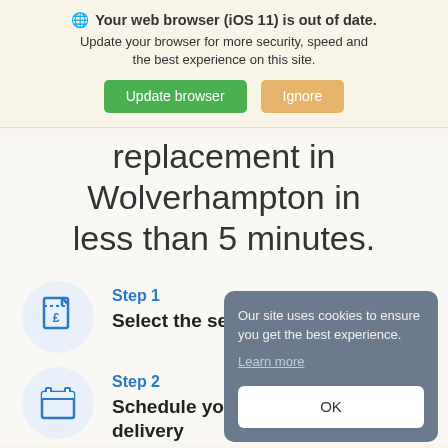🌐 Your web browser (iOS 11) is out of date. Update your browser for more security, speed and the best experience on this site. [Update browser] [Ignore]
replacement in Wolverhampton in less than 5 minutes.
Step 1 — Select the services your car needs
Step 2 — Schedule your collection & delivery
Our site uses cookies to ensure you get the best experience. Learn more [OK]